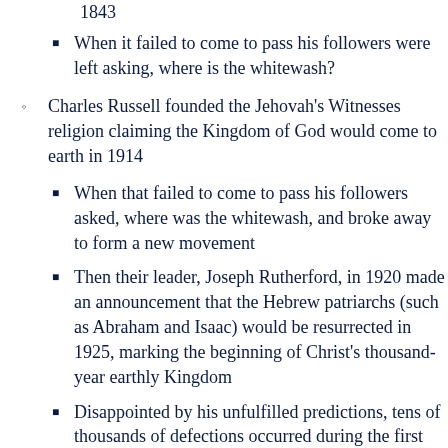1843
When it failed to come to pass his followers were left asking, where is the whitewash?
Charles Russell founded the Jehovah's Witnesses religion claiming the Kingdom of God would come to earth in 1914
When that failed to come to pass his followers asked, where was the whitewash, and broke away to form a new movement
Then their leader, Joseph Rutherford, in 1920 made an announcement that the Hebrew patriarchs (such as Abraham and Isaac) would be resurrected in 1925, marking the beginning of Christ's thousand-year earthly Kingdom
Disappointed by his unfulfilled predictions, tens of thousands of defections occurred during the first half of Rutherford's tenure,